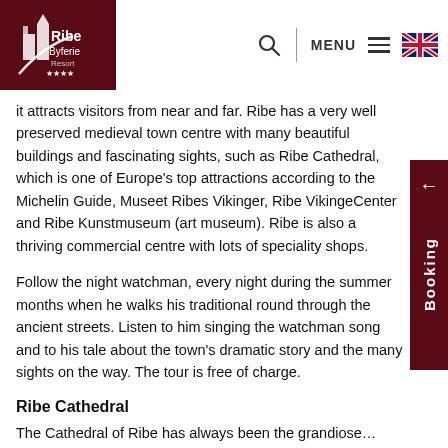Ribe Byferie Resort — navigation header with logo, search, menu, and UK flag
it attracts visitors from near and far. Ribe has a very well preserved medieval town centre with many beautiful buildings and fascinating sights, such as Ribe Cathedral, which is one of Europe's top attractions according to the Michelin Guide, Museet Ribes Vikinger, Ribe VikingeCenter and Ribe Kunstmuseum (art museum). Ribe is also a thriving commercial centre with lots of speciality shops.
Follow the night watchman, every night during the summer months when he walks his traditional round through the ancient streets. Listen to him singing the watchman song and to his tale about the town's dramatic story and the many sights on the way. The tour is free of charge.
Ribe Cathedral
The Cathedral of Ribe has always been the grandiose…